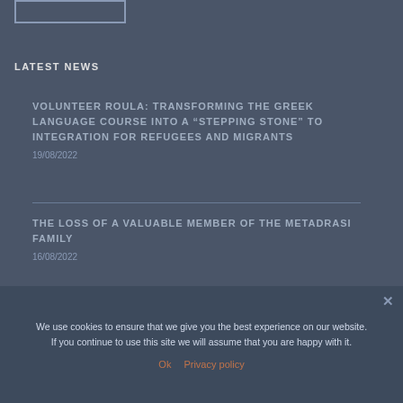LATEST NEWS
VOLUNTEER ROULA: TRANSFORMING THE GREEK LANGUAGE COURSE INTO A “STEPPING STONE” TO INTEGRATION FOR REFUGEES AND MIGRANTS
19/08/2022
THE LOSS OF A VALUABLE MEMBER OF THE METADRASI FAMILY
16/08/2022
We use cookies to ensure that we give you the best experience on our website. If you continue to use this site we will assume that you are happy with it.
Ok   Privacy policy